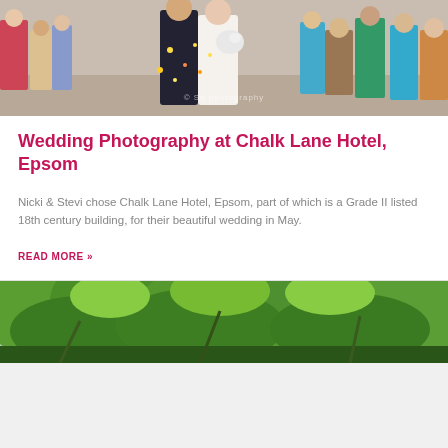[Figure (photo): Wedding photo showing a couple walking through confetti thrown by guests, outdoors. A copyright watermark reads '© Sh... photography'.]
Wedding Photography at Chalk Lane Hotel, Epsom
Nicki & Stevi chose Chalk Lane Hotel, Epsom, part of which is a Grade II listed 18th century building, for their beautiful wedding in May.
READ MORE »
[Figure (photo): Outdoor photo showing lush green trees and foliage, likely taken at a wedding venue.]